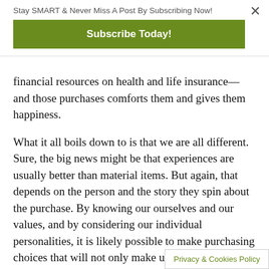Stay SMART & Never Miss A Post By Subscribing Now!
Subscribe Today!
financial resources on health and life insurance—and those purchases comforts them and gives them happiness.
What it all boils down to is that we are all different. Sure, the big news might be that experiences are usually better than material items. But again, that depends on the person and the story they spin about the purchase. By knowing our ourselves and our values, and by considering our individual personalities, it is likely possible to make purchasing choices that will not only make us happier, but that will ensure the happiness lasts longer.
Privacy & Cookies Policy